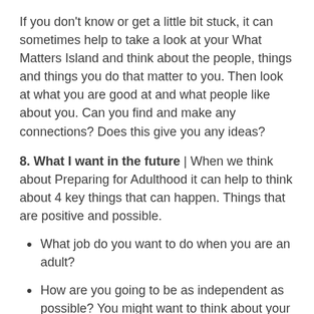If you don't know or get a little bit stuck, it can sometimes help to take a look at your What Matters Island and think about the people, things and things you do that matter to you. Then look at what you are good at and what people like about you. Can you find and make any connections? Does this give you any ideas?
8. What I want in the future | When we think about Preparing for Adulthood it can help to think about 4 key things that can happen. Things that are positive and possible.
What job do you want to do when you are an adult?
How are you going to be as independent as possible? You might want to think about your home, where you would like to live and who you would like to live with if anybody? How are you going to travel and get to places you want to